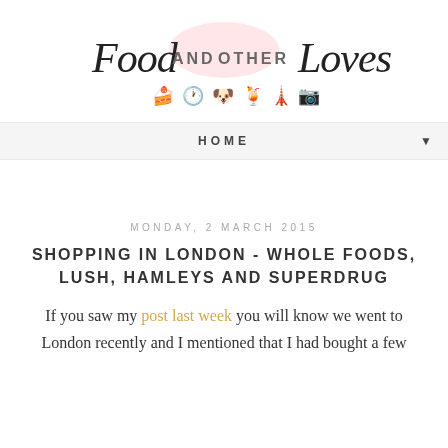Food AND OTHER Loves [blog logo with icons]
HOME
MONDAY, 2 MARCH 2015
SHOPPING IN LONDON - WHOLE FOODS, LUSH, HAMLEYS AND SUPERDRUG
If you saw my post last week you will know we went to London recently and I mentioned that I had bought a few